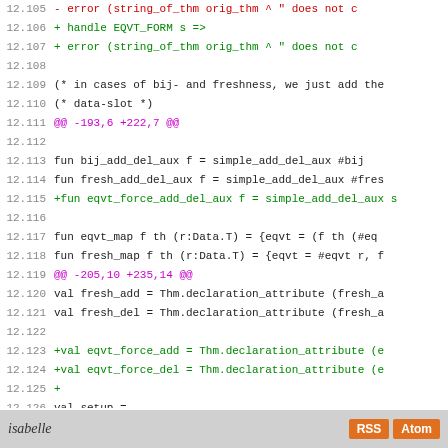[Figure (screenshot): Code diff view showing lines 12.105 to 12.133 of an Isabelle source file with additions (green) and deletions (red), including a diff hunk header in magenta.]
isabelle  RSS  Atom